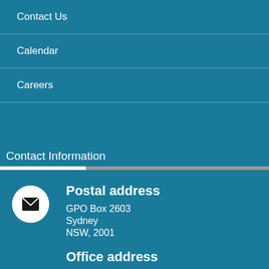Contact Us
Calendar
Careers
Contact Information
Postal address
GPO Box 2603
Sydney
NSW, 2001
Office address
Level 15, 60 Castlereagh St